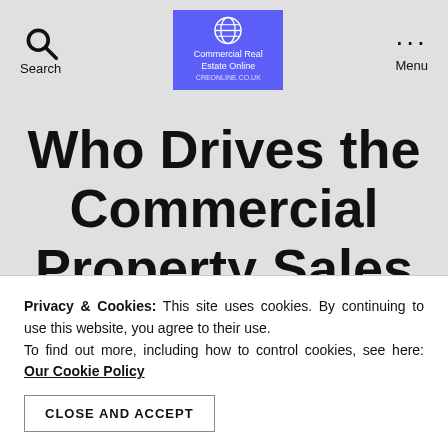Search | Commercial Real Estate Online | Menu
Who Drives the Commercial Property Sales or Lease Deal?
Privacy & Cookies: This site uses cookies. By continuing to use this website, you agree to their use. To find out more, including how to control cookies, see here: Our Cookie Policy
CLOSE AND ACCEPT